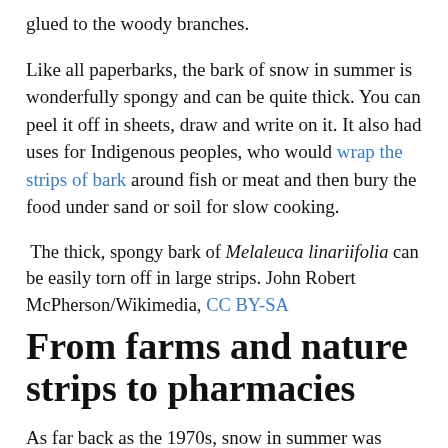glued to the woody branches.
Like all paperbarks, the bark of snow in summer is wonderfully spongy and can be quite thick. You can peel it off in sheets, draw and write on it. It also had uses for Indigenous peoples, who would wrap the strips of bark around fish or meat and then bury the food under sand or soil for slow cooking.
The thick, spongy bark of Melaleuca linariifolia can be easily torn off in large strips. John Robert McPherson/Wikimedia, CC BY-SA
From farms and nature strips to pharmacies
As far back as the 1970s, snow in summer was planted in urban nature strips and as an effective landscape